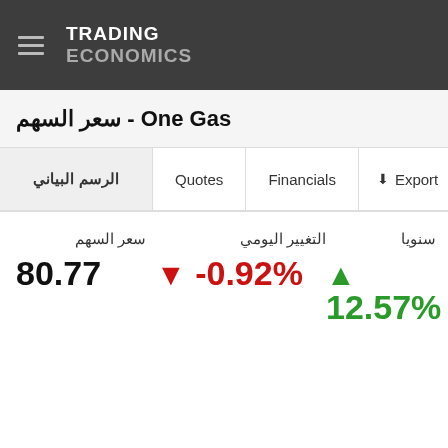TRADING ECONOMICS
سعر السهم - One Gas
الرسم البياني  Quotes  Financials  Export
سعر السهم
80.77
التغيير اليومي
▼ -0.92%
سنويا
▲ 12.57%